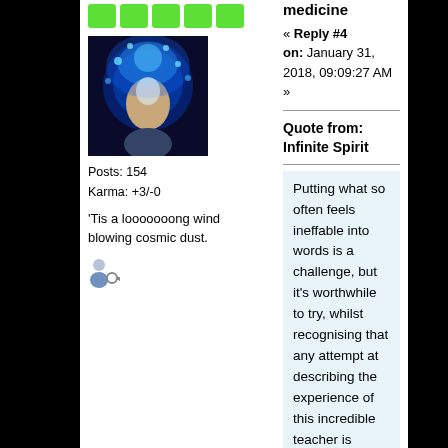[Figure (illustration): Five green square/rectangle badges in a row]
[Figure (photo): User avatar: person with blue glowing cosmic effect around head]
Posts: 154
Karma: +3/-0
'Tis a looooooong wind blowing cosmic dust.
[Figure (illustration): User icon: person with key symbol]
« Reply #4 on: January 31, 2018, 09:09:27 AM »
Quote from: Infinite Spirit
Putting what so often feels ineffable into words is a challenge, but it's worthwhile to try, whilst recognising that any attempt at describing the experience of this incredible teacher is